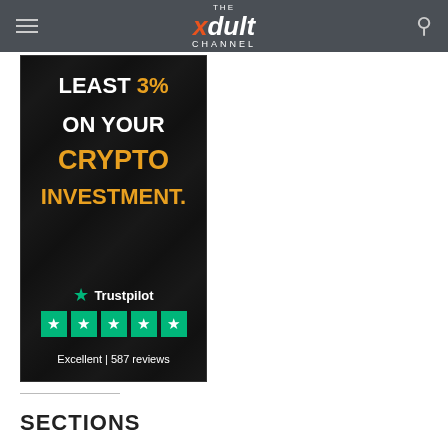THE xdult CHANNEL
[Figure (infographic): Dark advertisement banner for crypto investment. Text reads: LEAST 3% ON YOUR CRYPTO INVESTMENT. with Trustpilot logo (green star), 4 green star rating boxes, and 'Excellent | 587 reviews' at bottom.]
SECTIONS